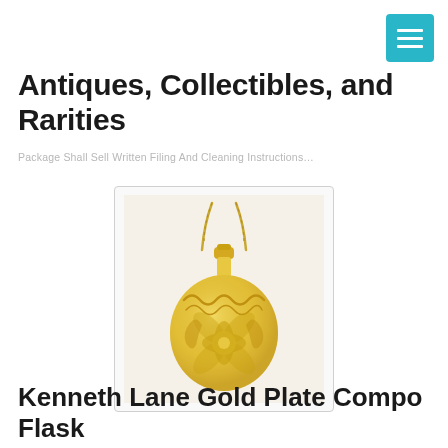Antiques, Collectibles, and Rarities
Package Shall Sell Written Filing And Cleaning Instructions…
[Figure (photo): A gold plate compo flask pendant on a gold chain, with floral and wave engravings on the round body, photographed on a white display stand.]
Kenneth Lane Gold Plate Compo Flask